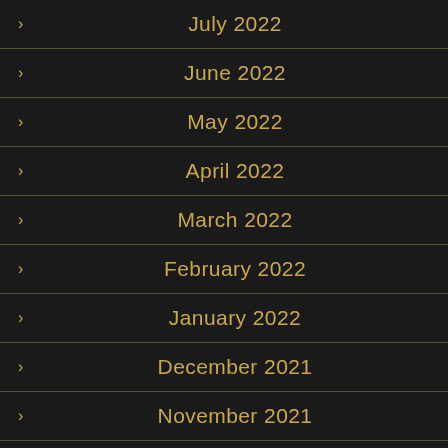July 2022
June 2022
May 2022
April 2022
March 2022
February 2022
January 2022
December 2021
November 2021